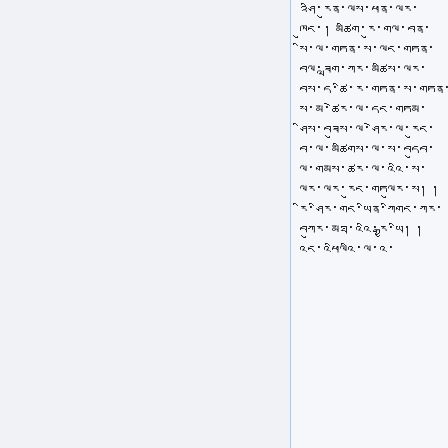Tibetan script text passage — multiple lines of Tibetan characters